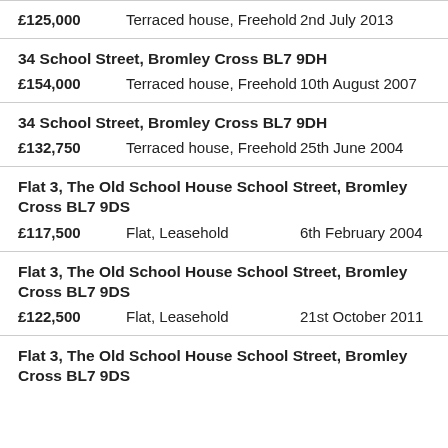£125,000 | Terraced house, Freehold | 2nd July 2013
34 School Street, Bromley Cross BL7 9DH | £154,000 | Terraced house, Freehold | 10th August 2007
34 School Street, Bromley Cross BL7 9DH | £132,750 | Terraced house, Freehold | 25th June 2004
Flat 3, The Old School House School Street, Bromley Cross BL7 9DS | £117,500 | Flat, Leasehold | 6th February 2004
Flat 3, The Old School House School Street, Bromley Cross BL7 9DS | £122,500 | Flat, Leasehold | 21st October 2011
Flat 3, The Old School House School Street, Bromley Cross BL7 9DS